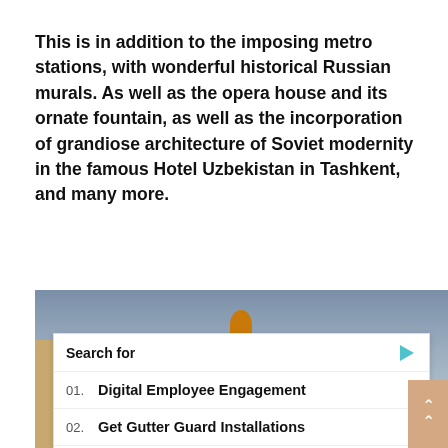This is in addition to the imposing metro stations, with wonderful historical Russian murals. As well as the opera house and its ornate fountain, as well as the incorporation of grandiose architecture of Soviet modernity in the famous Hotel Uzbekistan in Tashkent, and many more.
[Figure (photo): Partially visible photo of a building with a golden dome against a cloudy grey sky, with a search overlay ad from Yahoo showing two sponsored results: '01. Digital Employee Engagement' and '02. Get Gutter Guard Installations']